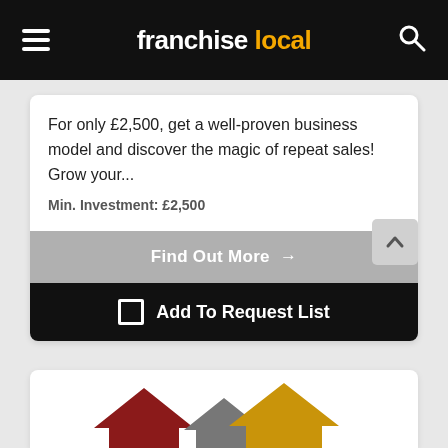franchise local
For only £2,500, get a well-proven business model and discover the magic of repeat sales! Grow your...
Min. Investment: £2,500
Find Out More →
☐ Add To Request List
[Figure (logo): Three upward-pointing house/arrow icons in red, grey, and gold/yellow colors, partially visible at the bottom of the page]